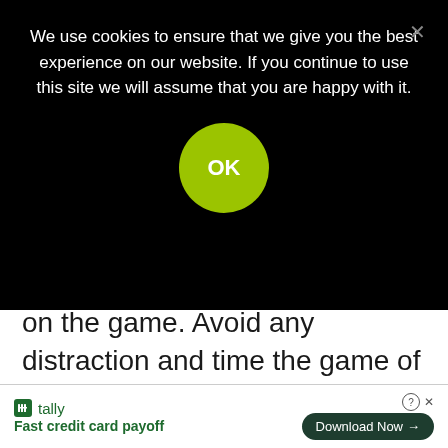We use cookies to ensure that we give you the best experience on our website. If you continue to use this site we will assume that you are happy with it.
on the game. Avoid any distraction and time the game of snooker to your advantage.
7. Performance awareness – Being aware of your performance per frame or even shot with a concentration, focus and emotion.
Tally — Fast credit card payoff — Download Now →